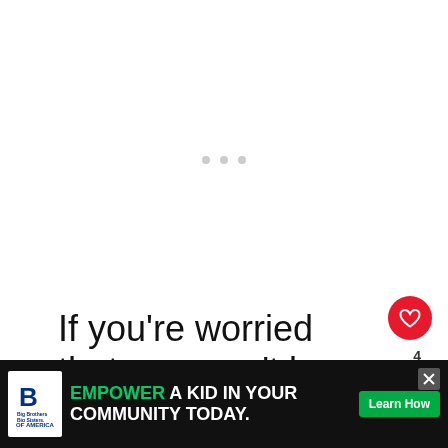[Figure (other): Large white content loading area with three gray dots indicating loading state]
If you’re worried that you won’t be able to recognize him, you shouldn’t be because your heart will know. The
[Figure (other): Advertisement banner: Big Brothers Big Sisters of America logo, text 'EMPOWER A KID IN YOUR COMMUNITY TODAY.' with a Learn How button and close X button]